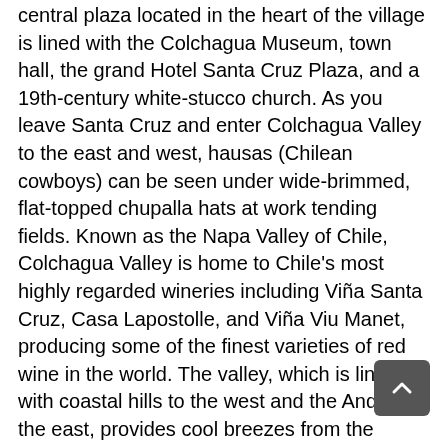central plaza located in the heart of the village is lined with the Colchagua Museum, town hall, the grand Hotel Santa Cruz Plaza, and a 19th-century white-stucco church. As you leave Santa Cruz and enter Colchagua Valley to the east and west, hausas (Chilean cowboys) can be seen under wide-brimmed, flat-topped chupalla hats at work tending fields. Known as the Napa Valley of Chile, Colchagua Valley is home to Chile's most highly regarded wineries including Viña Santa Cruz, Casa Lapostolle, and Viña Viu Manet, producing some of the finest varieties of red wine in the world. The valley, which is lined with coastal hills to the west and the Andes on the east, provides cool breezes from the Pacific Ocean and generous sunlight, trapping the daytime heat and creating a Mediterranean climate ideal for agriculture and the cultivation of grapes. Be sure to sample the Cabernet Sauvignon, Merlot, Petit Verdot, Syrah, and Carmenere as you take in the stunning landscape under the warm Chilean sun.
Patagonia
Descend deeper into Chile, down to the Patagonia